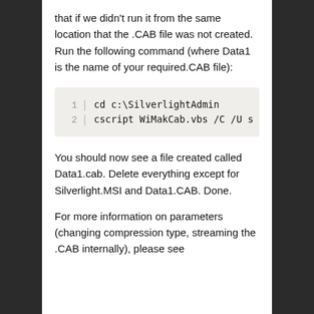that if we didn't run it from the same location that the .CAB file was not created.  Run the following command (where Data1 is the name of your required.CAB file):
1  cd c:\SilverlightAdmin
2  cscript WiMakCab.vbs /C /U s
You should now see a file created called Data1.cab.  Delete everything except for Silverlight.MSI and Data1.CAB.  Done.
For more information on parameters (changing compression type, streaming the .CAB internally), please see